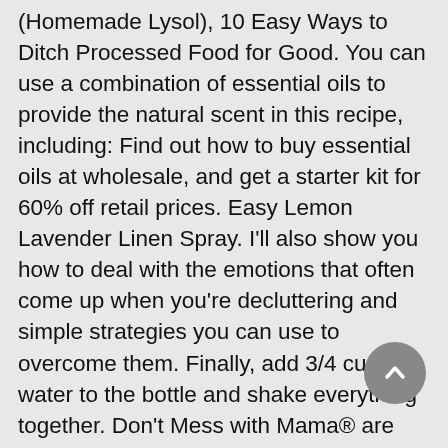(Homemade Lysol), 10 Easy Ways to Ditch Processed Food for Good. You can use a combination of essential oils to provide the natural scent in this recipe, including: Find out how to buy essential oils at wholesale, and get a starter kit for 60% off retail prices. Easy Lemon Lavender Linen Spray. I'll also show you how to deal with the emotions that often come up when you're decluttering and simple strategies you can use to overcome them. Finally, add 3/4 cup of water to the bottle and shake everything together. Don't Mess with Mama® are trademarks/service marks of Mama's Essentials, LLC. It's a natural way to remove household odors, and the spray works well in the bathroom, on most fabrics and carpets, even in shoes. Did you try this? Ditch the commercial stuff, save money, and make your own! It's the best deal around and a great way to get started with essential oils. More